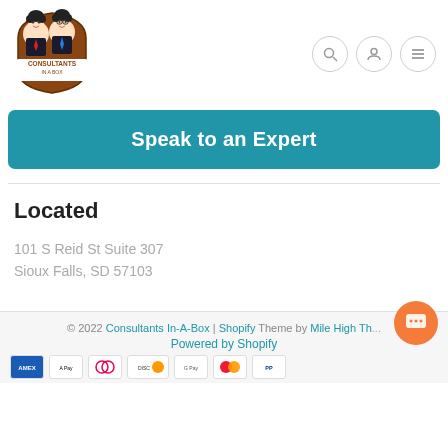[Figure (logo): Consultants In A Box logo with two cartoon characters]
[Figure (infographic): Navigation icons: search, user profile, hamburger menu]
Speak to an Expert
Located
101 S Reid St Suite 307
Sioux Falls, SD 57103
© 2022 Consultants In-A-Box | Shopify Theme by Mile High Th... Powered by Shopify